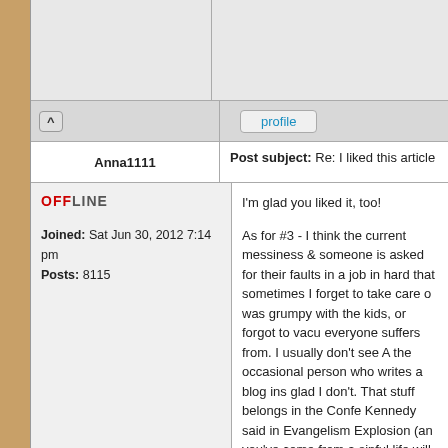profile
Anna1111
Post subject: Re: I liked this article
OFFLINE
Joined: Sat Jun 30, 2012 7:14 pm
Posts: 8115
I'm glad you liked it, too!

As for #3 - I think the current messiness & someone is asked for their faults in a job in hard that sometimes I forget to take care o was grumpy with the kids, or forgot to vacu everyone suffers from. I usually don't see A the occasional person who writes a blog ins glad I don't. That stuff belongs in the Confe Kennedy said in Evangelism Explosion (an you've come from a sinful life will not convi that they need to hide the silver so you don

I also loved the 9-year-old's observation ab